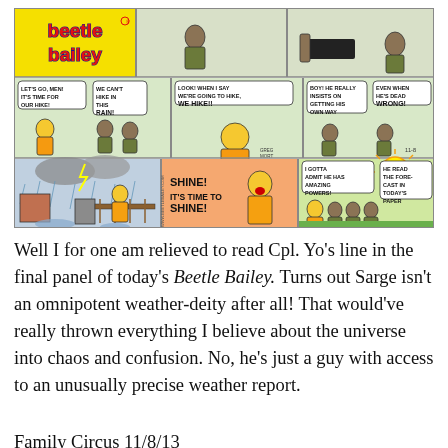[Figure (illustration): Beetle Bailey comic strip. Row 1: Title panel with 'beetle bailey' logo in red on yellow background, followed by two panels showing military characters indoors. Row 2: Three panels - Sarge says 'LET'S GO, MEN! IT'S TIME FOR OUR HIKE!' soldier replies 'WE CAN'T HIKE IN THIS RAIN!'; middle panel Sarge yells 'LOOK! WHEN I SAY WE'RE GOING TO HIKE, WE HIKE!!'; right panel two soldiers say 'BOY! HE REALLY INSISTS ON GETTING HIS OWN WAY' and 'EVEN WHEN HE'S DEAD WRONG!' with signature Greb-Mort Walker and date 11-8. Row 3: Outdoor rainy scene with Sarge at fence; Sarge shouts 'SHINE! IT'S TIME TO SHINE!'; sunny scene with soldiers saying 'I GOTTA ADMIT HE HAS AMAZING POWERS!' and 'HE READ THE FORE-CAST IN TODAY'S PAPER']
Well I for one am relieved to read Cpl. Yo's line in the final panel of today's Beetle Bailey. Turns out Sarge isn't an omnipotent weather-deity after all! That would've really thrown everything I believe about the universe into chaos and confusion. No, he's just a guy with access to an unusually precise weather report.
Family Circus 11/8/13